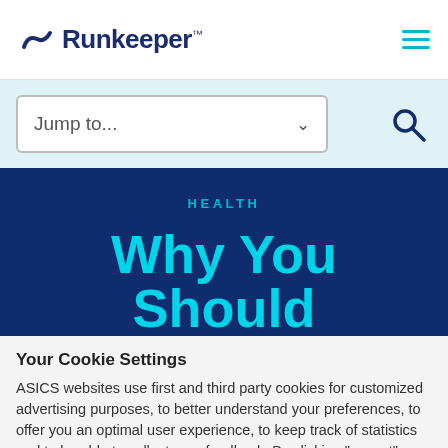Runkeeper™
Jump to...
HEALTH
Why You Should
Your Cookie Settings
ASICS websites use first and third party cookies for customized advertising purposes, to better understand your preferences, to offer you an optimal user experience, to keep track of statistics and to be able to collect your feedback. By clicking "accept" or by continuing browsing this website, you